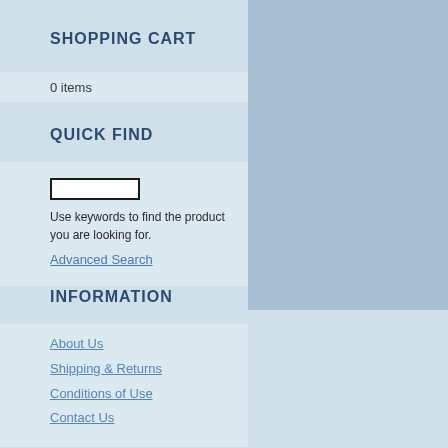SHOPPING CART
0 items
QUICK FIND
Use keywords to find the product you are looking for.
Advanced Search
INFORMATION
About Us
Shipping & Returns
Conditions of Use
Contact Us